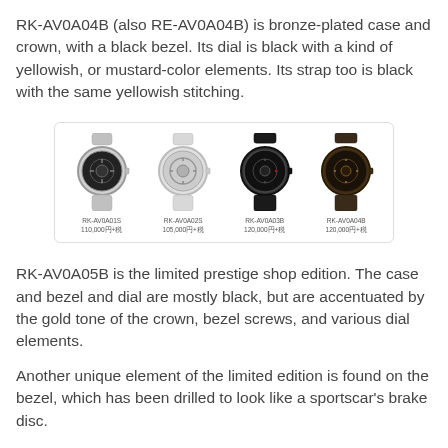RK-AV0A04B (also RE-AV0A04B) is bronze-plated case and crown, with a black bezel. Its dial is black with a kind of yellowish, or mustard-color elements. Its strap too is black with the same yellowish stitching.
[Figure (photo): Four Orient watches shown side by side with labels and prices: RK-AV0A01S (110,000 yen+tax), RK-AV0A02S (105,000 yen+tax), RK-AV0A03B (120,000 yen+tax), RK-AV0A04B (120,000 yen+tax). The first two have silver/steel cases with skeleton dials, the last two have dark cases with skeleton dials.]
RK-AV0A05B is the limited prestige shop edition. The case and bezel and dial are mostly black, but are accentuated by the gold tone of the crown, bezel screws, and various dial elements.
Another unique element of the limited edition is found on the bezel, which has been drilled to look like a sportscar's brake disc.